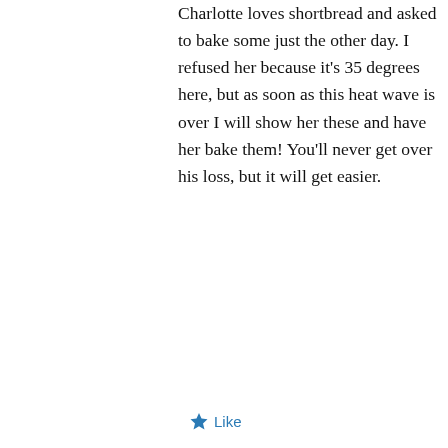Charlotte loves shortbread and asked to bake some just the other day. I refused her because it's 35 degrees here, but as soon as this heat wave is over I will show her these and have her bake them! You'll never get over his loss, but it will get easier.
★ Like
↳ Reply
Privacy & Cookies: This site uses cookies. By continuing to use this website, you agree to their use.
To find out more, including how to control cookies, see here: Cookie Policy
Close and accept